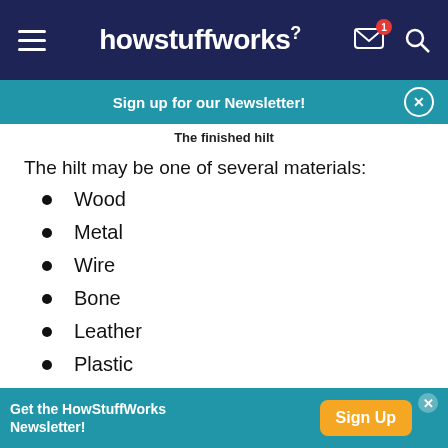howstuffworks
Sign up for our Newsletter!
The finished hilt
The hilt may be one of several materials:
Wood
Metal
Wire
Bone
Leather
Plastic
Get the HowStuffWorks Newsletter! Sign Up